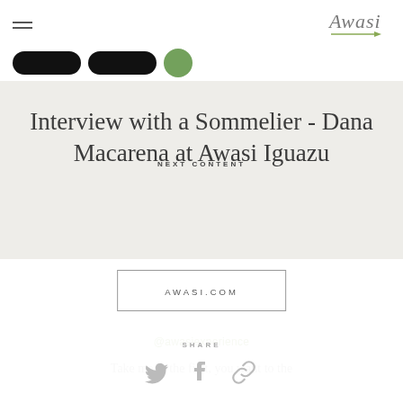Awasi
NEXT CONTENT
Interview with a Sommelier - Dana Macarena at Awasi Iguazu
AWASI.COM
@awasiexperience
SHARE